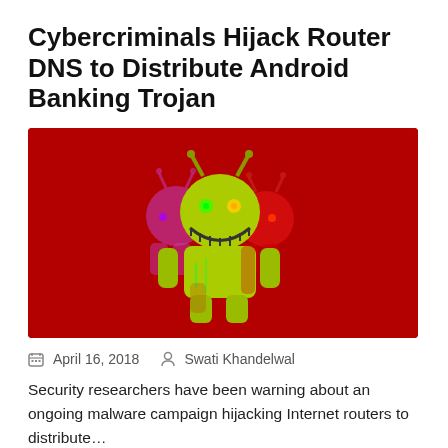Cybercriminals Hijack Router DNS to Distribute Android Banking Trojan
[Figure (illustration): Dark red background with stylized Android robot mascots — a central yellow-green glowing robot with an eerie grin flanked by shadowy purple and red robot figures, creating a menacing/hacker themed illustration.]
April 16, 2018   Swati Khandelwal
Security researchers have been warning about an ongoing malware campaign hijacking Internet routers to distribute…